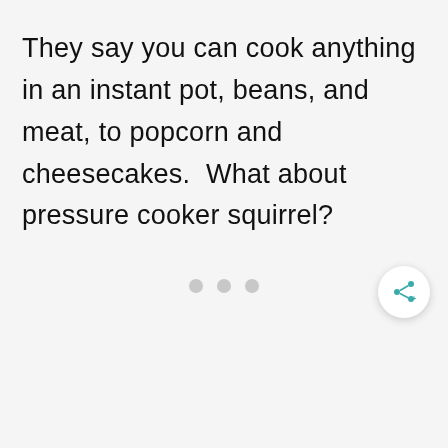They say you can cook anything in an instant pot, beans, and meat, to popcorn and cheesecakes.  What about pressure cooker squirrel?
[Figure (other): Three gray dots (pagination/loading indicator) centered at bottom of page, and a circular white share button with teal share icon in bottom-right corner]